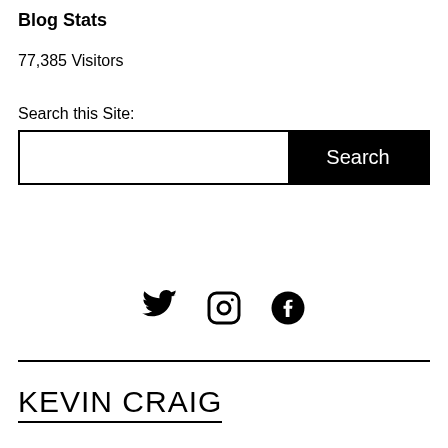Blog Stats
77,385 Visitors
Search this Site:
[Figure (screenshot): Search input box with white text field on the left and a black 'Search' button on the right]
[Figure (infographic): Social media icons: Twitter (bird), Instagram (camera), Facebook (f)]
KEVIN CRAIG